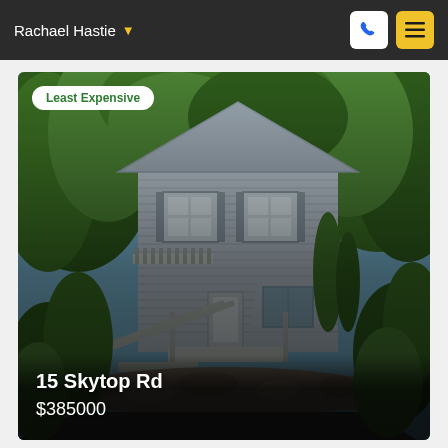Rachael Hastie
[Figure (photo): Exterior photo of a two-story gray clapboard house with white shutters, surrounded by lush green trees and shrubs. The house has a covered porch with stairs leading down to a stone-lined driveway. A 'Least Expensive' badge appears in the upper left of the photo.]
15 Skytop Rd
$385000